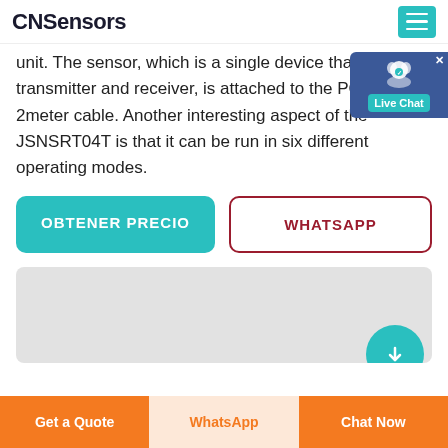CNSensors
unit. The sensor, which is a single device that acts as transmitter and receiver, is attached to the PCB using 2meter cable. Another interesting aspect of the JSNSRT04T is that it can be run in six different operating modes.
OBTENER PRECIO
WHATSAPP
[Figure (photo): Gray image area showing partial product view, with teal circular button at bottom right]
Get a Quote | WhatsApp | Chat Now